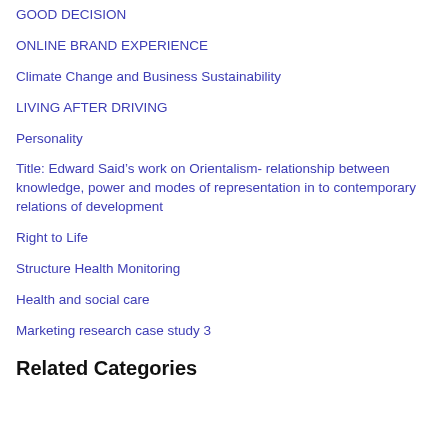GOOD DECISION
ONLINE BRAND EXPERIENCE
Climate Change and Business Sustainability
LIVING AFTER DRIVING
Personality
Title: Edward Said’s work on Orientalism- relationship between knowledge, power and modes of representation in to contemporary relations of development
Right to Life
Structure Health Monitoring
Health and social care
Marketing research case study 3
Related Categories